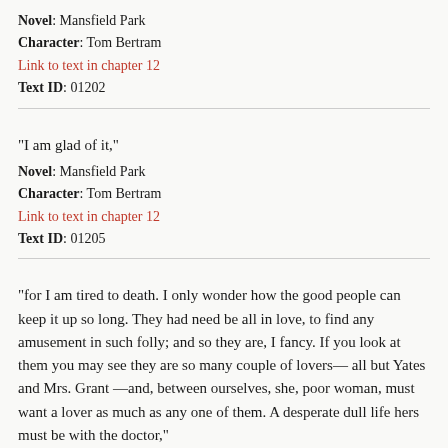Novel: Mansfield Park
Character: Tom Bertram
Link to text in chapter 12
Text ID: 01202
"I am glad of it,"
Novel: Mansfield Park
Character: Tom Bertram
Link to text in chapter 12
Text ID: 01205
"for I am tired to death. I only wonder how the good people can keep it up so long. They had need be all in love, to find any amusement in such folly; and so they are, I fancy. If you look at them you may see they are so many couple of lovers— all but Yates and Mrs. Grant —and, between ourselves, she, poor woman, must want a lover as much as any one of them. A desperate dull life hers must be with the doctor,"
Novel: Mansfield Park
Character: Tom Bertram
Link to text in chapter 12